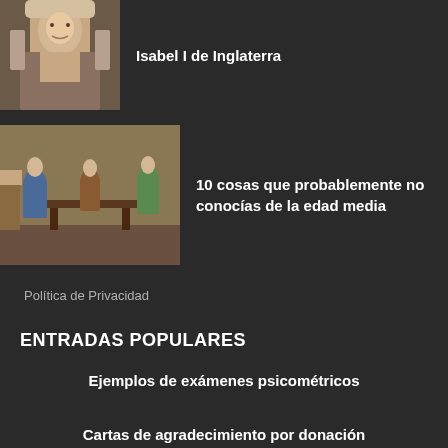[Figure (photo): Portrait of Isabel I de Inglaterra, a woman in ornate Renaissance dress]
Isabel I de Inglaterra
[Figure (illustration): Medieval illustration showing people in a room with furniture, depicting medieval life scenes]
10 cosas que probablemente no conocías de la edad media
Política de Privacidad
ENTRADAS POPULARES
Ejemplos de exámenes psicométricos
Cartas de agradecimiento por donación